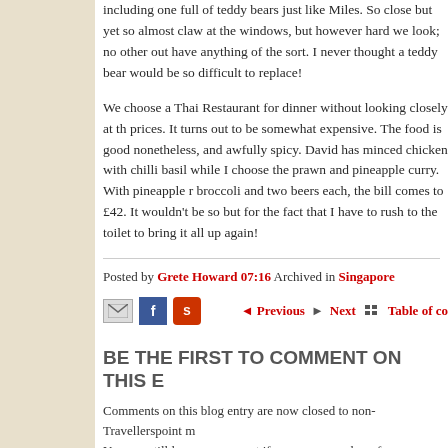including one full of teddy bears just like Miles. So close but yet so almost claw at the windows, but however hard we look; no other out have anything of the sort. I never thought a teddy bear would be so difficult to replace!
We choose a Thai Restaurant for dinner without looking closely at the prices. It turns out to be somewhat expensive. The food is good nonetheless, and awfully spicy. David has minced chicken with chilli basil while I choose the prawn and pineapple curry. With pineapple r broccoli and two beers each, the bill comes to £42. It wouldn't be so but for the fact that I have to rush to the toilet to bring it all up again!
Posted by Grete Howard 07:16 Archived in Singapore
[Figure (infographic): Navigation bar with email, Facebook, StumbleUpon icons and Previous/Next/Table of contents links]
BE THE FIRST TO COMMENT ON THIS E
Comments on this blog entry are now closed to non-Travellerspoint m You can still leave a comment if you are a member of Travellerspoint
Login